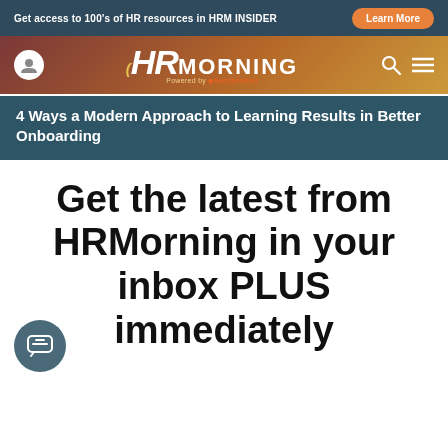Get access to 100's of HR resources in HRM INSIDER
[Figure (logo): HRMorning logo with golden bracket and 'Powered by Successfuel' tagline on brownish-gold gradient nav bar]
4 Ways a Modern Approach to Learning Results in Better Onboarding
Get the latest from HRMorning in your inbox PLUS immediately